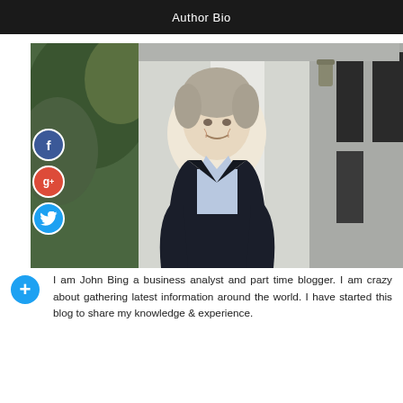Author Bio
[Figure (photo): A middle-aged man in a dark blazer and light blue shirt, smiling, standing outdoors in front of a white columned building with greenery in the background. Social media icons (Facebook, Google+, Twitter) are overlaid on the left side of the image.]
I am John Bing a business analyst and part time blogger. I am crazy about gathering latest information around the world. I have started this blog to share my knowledge & experience.